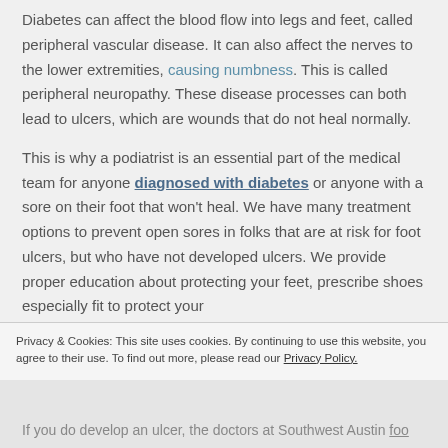Diabetes can affect the blood flow into legs and feet, called peripheral vascular disease. It can also affect the nerves to the lower extremities, causing numbness. This is called peripheral neuropathy. These disease processes can both lead to ulcers, which are wounds that do not heal normally.
This is why a podiatrist is an essential part of the medical team for anyone diagnosed with diabetes or anyone with a sore on their foot that won't heal. We have many treatment options to prevent open sores in folks that are at risk for foot ulcers, but who have not developed ulcers. We provide proper education about protecting your feet, prescribe shoes especially fit to protect your [feet...] could eventually cause skin breakdown if left untreated.
If you do develop an ulcer, the doctors at Southwest Austin [foot...]
Privacy & Cookies: This site uses cookies. By continuing to use this website, you agree to their use. To find out more, please read our Privacy Policy.